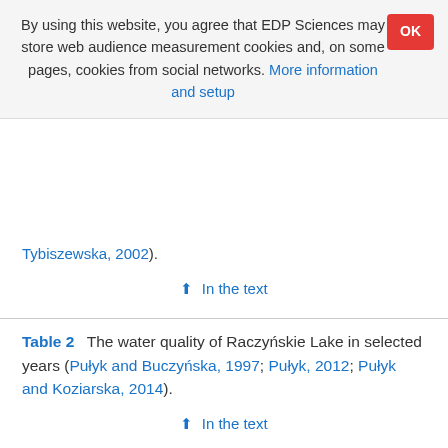By using this website, you agree that EDP Sciences may store web audience measurement cookies and, on some pages, cookies from social networks. More information and setup
Tybiszewska, 2002).
In the text
Table 2   The water quality of Raczyńskie Lake in selected years (Pułyk and Buczyńska, 1997; Pułyk, 2012; Pułyk and Koziarska, 2014).
In the text
Table 3   The percentage of the land use of Raczyńskie Lake catchment in the 1980s and in 2015.
In the text